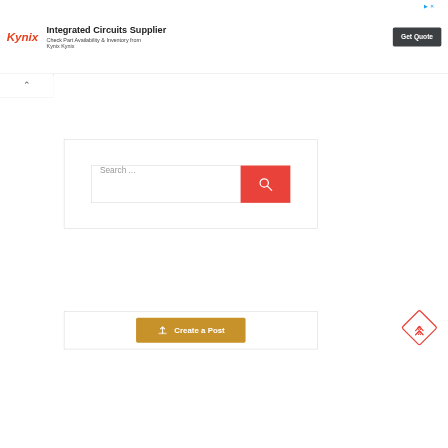[Figure (screenshot): Kynix Integrated Circuits Supplier advertisement banner with logo, text, and Get Quote button]
[Figure (screenshot): Search box with red search button and placeholder text 'Search ...']
[Figure (screenshot): Create a Post button in golden/amber color with upload icon]
[Figure (other): Red diamond scroll-to-top icon with double chevron arrows]